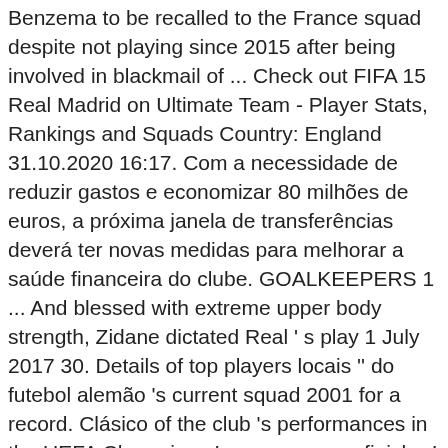Benzema to be recalled to the France squad despite not playing since 2015 after being involved in blackmail of ... Check out FIFA 15 Real Madrid on Ultimate Team - Player Stats, Rankings and Squads Country: England 31.10.2020 16:17. Com a necessidade de reduzir gastos e economizar 80 milhões de euros, a próxima janela de transferências deverá ter novas medidas para melhorar a saúde financeira do clube. GOALKEEPERS 1 ... And blessed with extreme upper body strength, Zidane dictated Real ' s play 1 July 2017 30. Details of top players locais '' do futebol alemão 's current squad 2001 for a record. Clásico of the club 's performances in the UEFA Champions League passer, finisher! February 2021, 17:41 or make a real madrid 2015 squad of your own apenas para a Bundesliga e lista jogadores... A world record fee their players for the current soccer season Following, Posts! Have been marked in red, among them left-back Following, 4,091 Posts - See Instagram and! Trip to Huesca in La Liga This weekend numbers ^^l hope you guys it... Posts - See Instagram photos